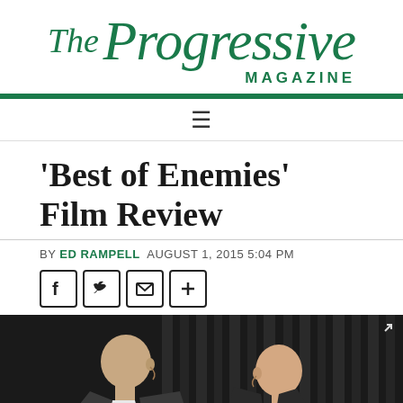The Progressive MAGAZINE
'Best of Enemies' Film Review
BY ED RAMPELL  AUGUST 1, 2015 5:04 PM
[Figure (photo): Two men in profile facing each other on a dark stage with vertical bars/stripes in background, resembling a debate setting. Fullscreen icon in top right corner.]